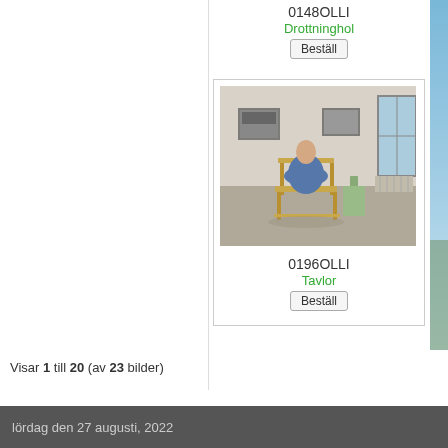0148OLLI
Drottninghol
Beställ
[Figure (photo): Person sitting on wooden chair viewed from behind in a sparse room with paintings on wall and window to the right]
0196OLLI
Tavlor
Beställ
Visar 1 till 20 (av 23 bilder)
lördag den 27 augusti, 2022